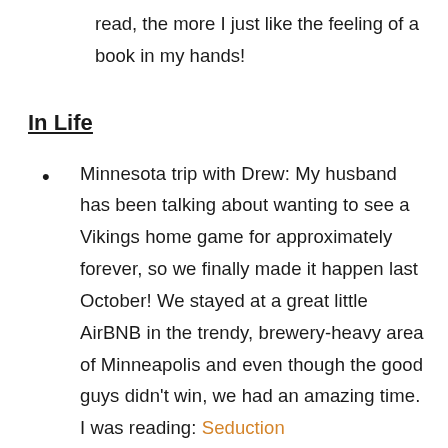read, the more I just like the feeling of a book in my hands!
In Life
Minnesota trip with Drew: My husband has been talking about wanting to see a Vikings home game for approximately forever, so we finally made it happen last October! We stayed at a great little AirBNB in the trendy, brewery-heavy area of Minneapolis and even though the good guys didn't win, we had an amazing time. I was reading: Seduction
Girls trip to New Orleans: For my annual trip